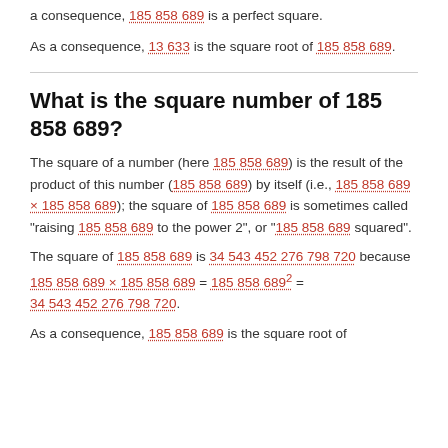a consequence, 185 858 689 is a perfect square.
As a consequence, 13 633 is the square root of 185 858 689.
What is the square number of 185 858 689?
The square of a number (here 185 858 689) is the result of the product of this number (185 858 689) by itself (i.e., 185 858 689 × 185 858 689); the square of 185 858 689 is sometimes called "raising 185 858 689 to the power 2", or "185 858 689 squared".
The square of 185 858 689 is 34 543 452 276 798 720 because 185 858 689 × 185 858 689 = 185 858 689² = 34 543 452 276 798 720.
As a consequence, 185 858 689 is the square root of